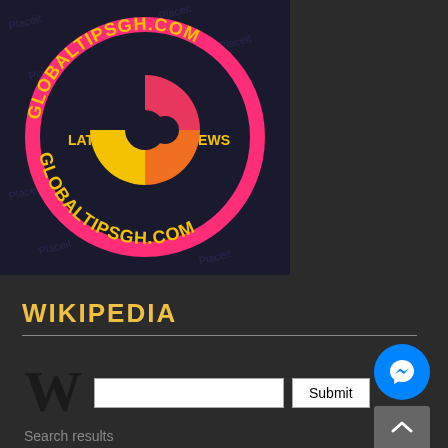[Figure (logo): GlobalTipsGH.com circular logo on dark navy background with pink outer ring, showing text GLOBALTIPSGH.COM arched top and bottom, with LATEST and NEWS labels on sides, and a colorful C-shaped icon in center]
WIKIPEDIA
[Figure (logo): Wikipedia W logo in black serif font]
Search results